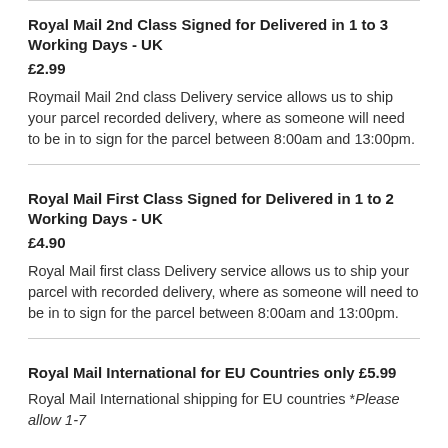Royal Mail 2nd Class Signed for Delivered in 1 to 3 Working Days - UK
£2.99
Roymail Mail 2nd class Delivery service allows us to ship your parcel recorded delivery, where as someone will need to be in to sign for the parcel between 8:00am and 13:00pm.
Royal Mail First Class Signed for Delivered in 1 to 2 Working Days - UK
£4.90
Royal Mail first class Delivery service allows us to ship your parcel with recorded delivery, where as someone will need to be in to sign for the parcel between 8:00am and 13:00pm.
Royal Mail International for EU Countries only £5.99
Royal Mail International shipping for EU countries *Please allow 1-7